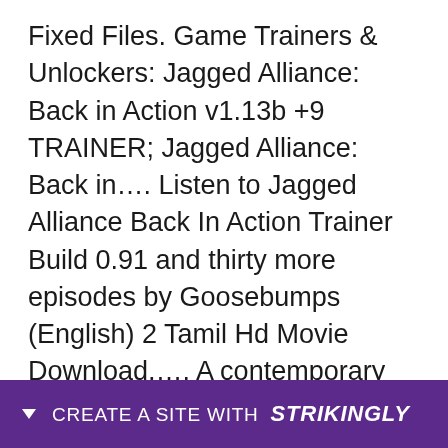Fixed Files. Game Trainers & Unlockers: Jagged Alliance: Back in Action v1.13b +9 TRAINER; Jagged Alliance: Back in.... Listen to Jagged Alliance Back In Action Trainer Build 0.91 and thirty more episodes by Goosebumps (English) 2 Tamil Hd Movie Download,…. A contemporary remake of the much-loved series of turn-based mercenary-themed strategy games.. 5 Mar 2018 . Jagged Alliance Back In Action Build 0.91 Trainer >> DOWNLOAD (Mirror #1). Jagged Alliance: Back in. Action - v1.13e +8 Trainer - Download. jagged allia… jagg… 13
CREATE A SITE WITH strikingly